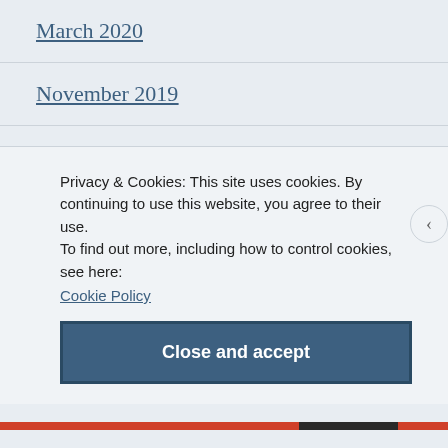March 2020
November 2019
April 2019
December 2018
July 2018
June 2018
Privacy & Cookies: This site uses cookies. By continuing to use this website, you agree to their use.
To find out more, including how to control cookies, see here: Cookie Policy
Close and accept